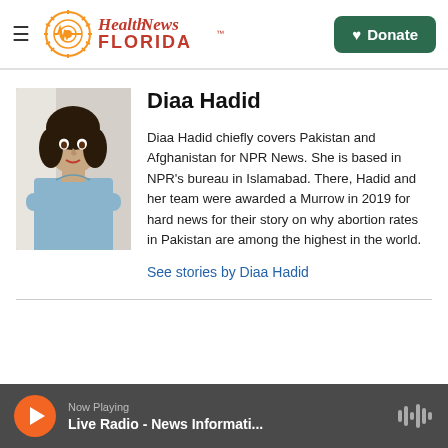Health News Florida — Donate
[Figure (photo): Headshot photo of Diaa Hadid, a woman with dark curly hair, wearing a light blue top, arms crossed]
Diaa Hadid
Diaa Hadid chiefly covers Pakistan and Afghanistan for NPR News. She is based in NPR's bureau in Islamabad. There, Hadid and her team were awarded a Murrow in 2019 for hard news for their story on why abortion rates in Pakistan are among the highest in the world.
See stories by Diaa Hadid
Now Playing — Live Radio - News Informati...